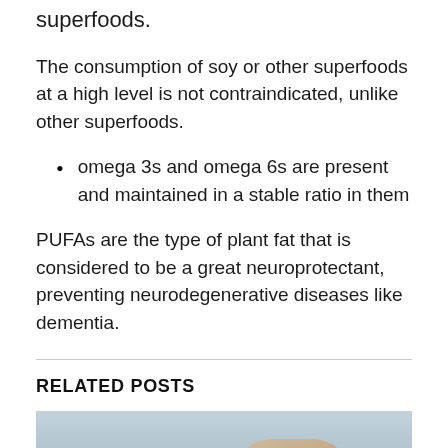superfoods.
The consumption of soy or other superfoods at a high level is not contraindicated, unlike other superfoods.
omega 3s and omega 6s are present and maintained in a stable ratio in them
PUFAs are the type of plant fat that is considered to be a great neuroprotectant, preventing neurodegenerative diseases like dementia.
RELATED POSTS
[Figure (photo): Person resting on a couch or bed with a pillow, muted blue-grey tones]